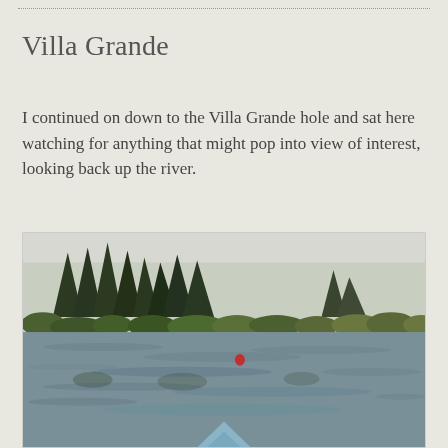Villa Grande
I continued on down to the Villa Grande hole and sat here watching for anything that might pop into view of interest, looking back up the river.
[Figure (photo): River scene looking upstream, with tall conifer trees (redwoods) lining the far bank, lower shrubby vegetation near the waterline, calm water with ripples, overcast sky, and the tip of a blue kayak visible at the bottom of the frame.]